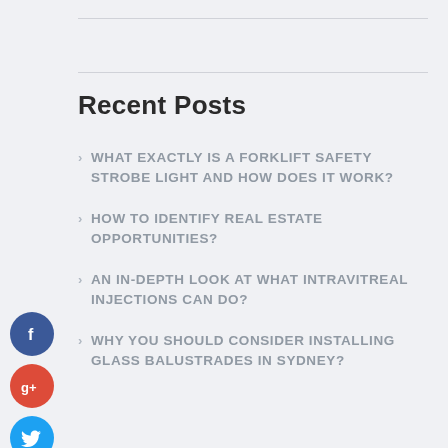Recent Posts
WHAT EXACTLY IS A FORKLIFT SAFETY STROBE LIGHT AND HOW DOES IT WORK?
HOW TO IDENTIFY REAL ESTATE OPPORTUNITIES?
AN IN-DEPTH LOOK AT WHAT INTRAVITREAL INJECTIONS CAN DO?
WHY YOU SHOULD CONSIDER INSTALLING GLASS BALUSTRADES IN SYDNEY?